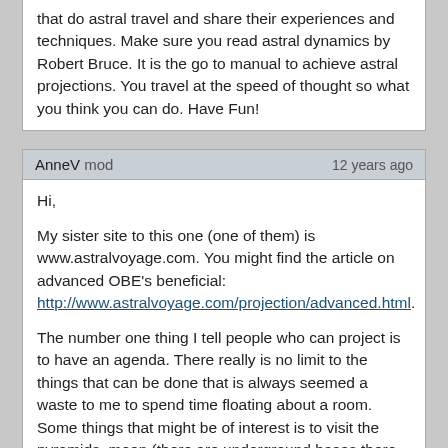that do astral travel and share their experiences and techniques. Make sure you read astral dynamics by Robert Bruce. It is the go to manual to achieve astral projections. You travel at the speed of thought so what you think you can do. Have Fun!
AnneV mod   12 years ago
Hi,

My sister site to this one (one of them) is www.astralvoyage.com. You might find the article on advanced OBE's beneficial: http://www.astralvoyage.com/projection/advanced.html.

The number one thing I tell people who can project is to have an agenda. There really is no limit to the things that can be done that is always seemed a waste to me to spend time floating about a room. Some things that might be of interest is to visit the pyramids, moon (there are underground bases there believe it or not) travel back in time to Atlantis, see other life forms, ask to see the lottery numbers (I've done this so I know it can work) and so much more. And if you do have neat stories to share, please do. I love to hear other people's travel stories. I